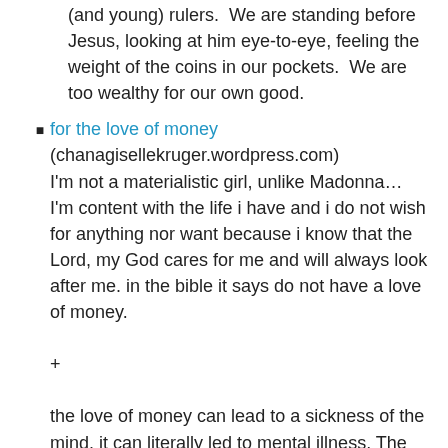(and young) rulers.  We are standing before Jesus, looking at him eye-to-eye, feeling the weight of the coins in our pockets.  We are too wealthy for our own good.
for the love of money
(chanagisellekruger.wordpress.com)
I'm not a materialistic girl, unlike Madonna… I'm content with the life i have and i do not wish for anything nor want because i know that the Lord, my God cares for me and will always look after me. in the bible it says do not have a love of money.
+
the love of money can lead to a sickness of the mind. it can literally led to mental illness. The two  main mental illnesses are in my believe that are connected to the love of money are Anxiety and Depression.